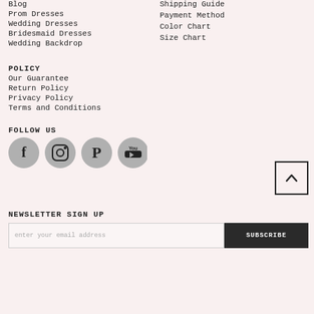Blog
Prom Dresses
Wedding Dresses
Bridesmaid Dresses
Wedding Backdrop
Shipping Guide
Payment Method
Color Chart
Size Chart
POLICY
Our Guarantee
Return Policy
Privacy Policy
Terms and Conditions
FOLLOW US
[Figure (illustration): Social media icons: Facebook, Instagram, Pinterest, YouTube in circular buttons]
NEWSLETTER SIGN UP
enter your email address
SUBSCRIBE